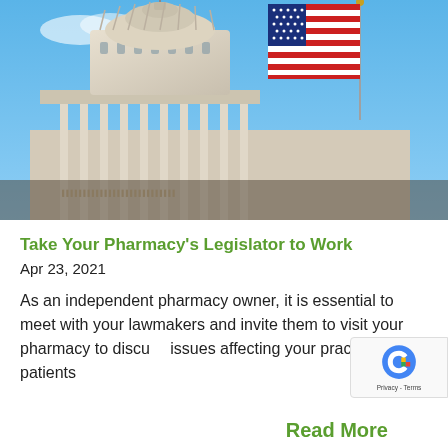[Figure (photo): Photograph of the United States Capitol building dome with an American flag waving in the foreground against a blue sky]
Take Your Pharmacy's Legislator to Work
Apr 23, 2021
As an independent pharmacy owner, it is essential to meet with your lawmakers and invite them to visit your pharmacy to discuss issues affecting your practice and patients
Read More